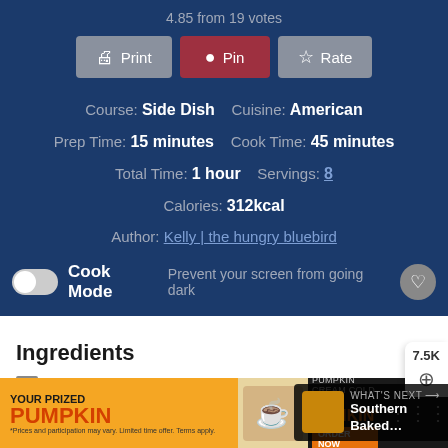4.85 from 19 votes
[Figure (screenshot): Print, Pin, Rate buttons row]
Course: Side Dish   Cuisine: American
Prep Time: 15 minutes   Cook Time: 45 minutes
Total Time: 1 hour   Servings: 8
Calories: 312kcal
Author: Kelly | the hungry bluebird
Cook Mode Prevent your screen from going dark
Ingredients
1 15-oz. can whole kernel corn drained
1 15-oz. can cream-style corn
1 egg lightly beaten
4 tablespoons butter melted
[Figure (photo): Advertisement banner: YOUR PRIZED PUMPKIN - PUMPKIN CREAM COLD BREW DUNKIN ORDER NOW]